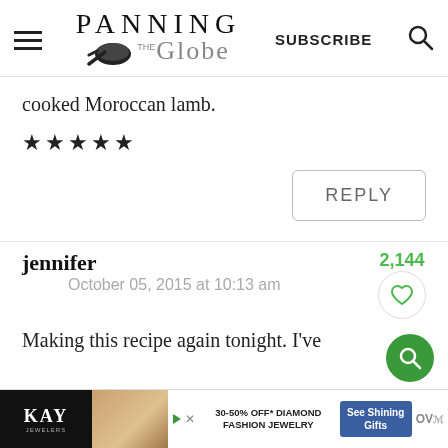PANNING THE Globe — SUBSCRIBE
cooked Moroccan lamb.
★★★★★
REPLY
jennifer
October 05, 2015 at 10:13 am
2,144
Making this recipe again tonight. I've
[Figure (screenshot): Kay Jewelers advertisement banner at bottom: KAY logo, couple photo, '30-50% OFF* DIAMOND FASHION JEWELRY', 'See Shining Gifts' button, and additional logos]